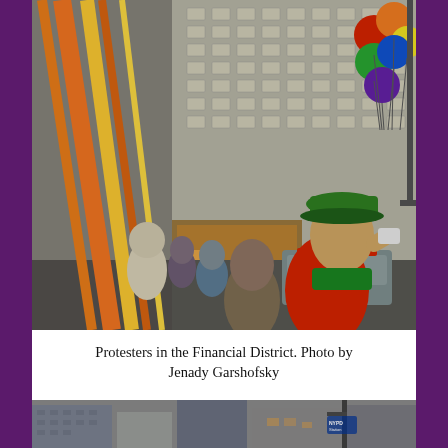[Figure (photo): Protesters marching in the Financial District of New York City. A man in a green hat and red shirt blows into a megaphone or instrument in the foreground. There are colorful balloons (red, yellow, green, blue, purple) on the right. An NYPD police vehicle is visible in the middle. A Chase bank sign is visible on a building in the background. People carry orange and yellow banners/poles.]
Protesters in the Financial District. Photo by Jenady Garshofsky
[Figure (photo): Street-level view of tall buildings in the Financial District, New York City. Urban skyscrapers with glass and concrete facades are visible. A street lamp and an NYPD sign are visible in the right portion of the image.]